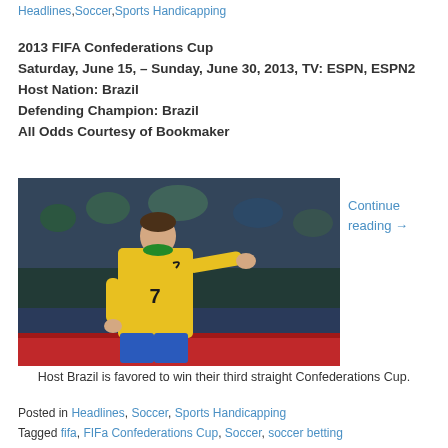Headlines, Soccer, Sports Handicapping
2013 FIFA Confederations Cup
Saturday, June 15, – Sunday, June 30, 2013, TV: ESPN, ESPN2
Host Nation: Brazil
Defending Champion: Brazil
All Odds Courtesy of Bookmaker
[Figure (photo): A Brazil soccer player wearing yellow jersey number 7, pointing with one arm extended, during a match with crowd in background.]
Continue reading →
Host Brazil is favored to win their third straight Confederations Cup.
Posted in Headlines, Soccer, Sports Handicapping
Tagged fifa, FIFa Confederations Cup, Soccer, soccer betting